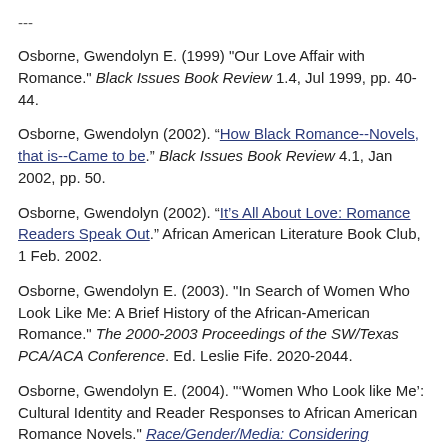---
Osborne, Gwendolyn E. (1999) "Our Love Affair with Romance." Black Issues Book Review 1.4, Jul 1999, pp. 40-44.
Osborne, Gwendolyn (2002). “How Black Romance--Novels, that is--Came to be.” Black Issues Book Review 4.1, Jan 2002, pp. 50.
Osborne, Gwendolyn (2002). “It’s All About Love: Romance Readers Speak Out.” African American Literature Book Club, 1 Feb. 2002.
Osborne, Gwendolyn E. (2003). "In Search of Women Who Look Like Me: A Brief History of the African-American Romance." The 2000-2003 Proceedings of the SW/Texas PCA/ACA Conference. Ed. Leslie Fife. 2020-2044.
Osborne, Gwendolyn E. (2004). "‘Women Who Look like Me’: Cultural Identity and Reader Responses to African American Romance Novels." Race/Gender/Media: Considering Diversity Across Audiences, Content, and